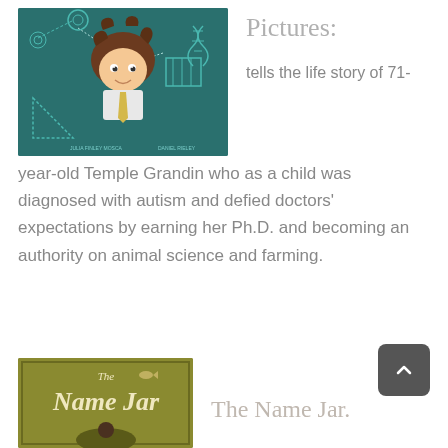[Figure (illustration): Book cover illustration showing a cartoon boy with curly brown hair and scientific diagrams on a teal/dark green background]
Pictures:
tells the life story of 71-year-old Temple Grandin who as a child was diagnosed with autism and defied doctors' expectations by earning her Ph.D. and becoming an authority on animal science and farming.
[Figure (illustration): Book cover of 'The Name Jar' with olive/gold background and decorative text]
The Name Jar.